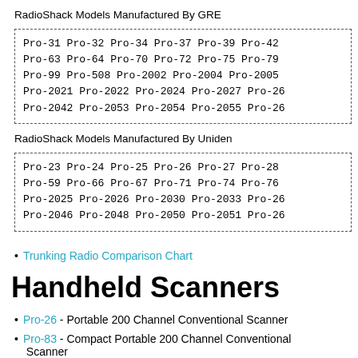RadioShack Models Manufactured By GRE
Pro-31 Pro-32 Pro-34 Pro-37 Pro-39 Pro-42 Pro-63 Pro-64 Pro-70 Pro-72 Pro-75 Pro-79 Pro-99 Pro-508 Pro-2002 Pro-2004 Pro-2005 Pro-2021 Pro-2022 Pro-2024 Pro-2027 Pro-26... Pro-2042 Pro-2053 Pro-2054 Pro-2055 Pro-26...
RadioShack Models Manufactured By Uniden
Pro-23 Pro-24 Pro-25 Pro-26 Pro-27 Pro-28 Pro-59 Pro-66 Pro-67 Pro-71 Pro-74 Pro-76 Pro-2025 Pro-2026 Pro-2030 Pro-2033 Pro-26... Pro-2046 Pro-2048 Pro-2050 Pro-2051 Pro-26...
Trunking Radio Comparison Chart
Handheld Scanners
Pro-26 - Portable 200 Channel Conventional Scanner
Pro-83 - Compact Portable 200 Channel Conventional Scanner